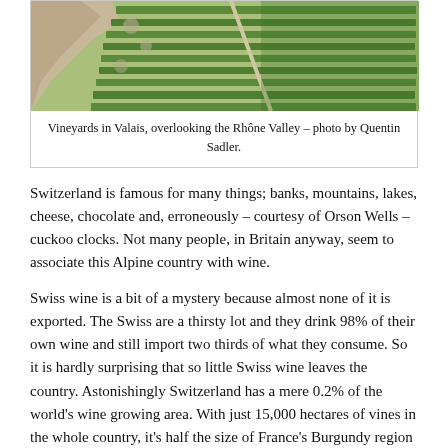[Figure (photo): Aerial/overhead photograph of vineyards in Valais, Switzerland, overlooking the Rhône Valley. Shows terraced vine rows on hillside with rocky terrain and roads.]
Vineyards in Valais, overlooking the Rhône Valley – photo by Quentin Sadler.
Switzerland is famous for many things; banks, mountains, lakes, cheese, chocolate and, erroneously – courtesy of Orson Wells – cuckoo clocks. Not many people, in Britain anyway, seem to associate this Alpine country with wine.
Swiss wine is a bit of a mystery because almost none of it is exported. The Swiss are a thirsty lot and they drink 98% of their own wine and still import two thirds of what they consume. So it is hardly surprising that so little Swiss wine leaves the country. Astonishingly Switzerland has a mere 0.2% of the world's wine growing area. With just 15,000 hectares of vines in the whole country, it's half the size of France's Burgundy region – itself far from being a large producer.